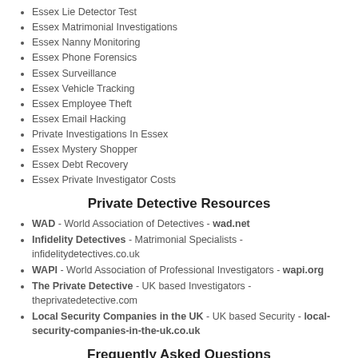Essex Lie Detector Test
Essex Matrimonial Investigations
Essex Nanny Monitoring
Essex Phone Forensics
Essex Surveillance
Essex Vehicle Tracking
Essex Employee Theft
Essex Email Hacking
Private Investigations In Essex
Essex Mystery Shopper
Essex Debt Recovery
Essex Private Investigator Costs
Private Detective Resources
WAD - World Association of Detectives - wad.net
Infidelity Detectives - Matrimonial Specialists - infidelitydetectives.co.uk
WAPI - World Association of Professional Investigators - wapi.org
The Private Detective - UK based Investigators - theprivatedetective.com
Local Security Companies in the UK - UK based Security - local-security-companies-in-the-uk.co.uk
Frequently Asked Questions
Infidelity FAQs In Essex
Theft FAQs In Essex
Due Diligence FAQs In Essex
Tracing FAQs In Essex